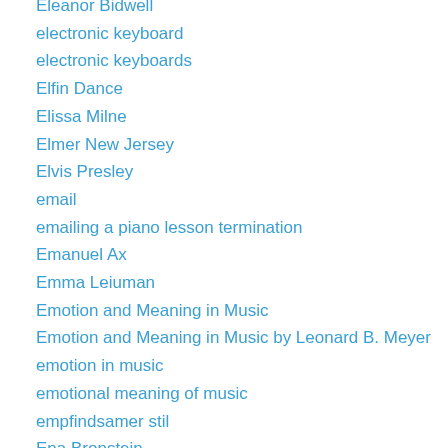Eleanor Bidwell
electronic keyboard
electronic keyboards
Elfin Dance
Elissa Milne
Elmer New Jersey
Elvis Presley
email
emailing a piano lesson termination
Emanuel Ax
Emma Leiuman
Emotion and Meaning in Music
Emotion and Meaning in Music by Leonard B. Meyer
emotion in music
emotional meaning of music
empfindsamer stil
Ena Bronstein
Ena Bronstein Barton
Ena Bronstein pianist
end of the year piano recitals